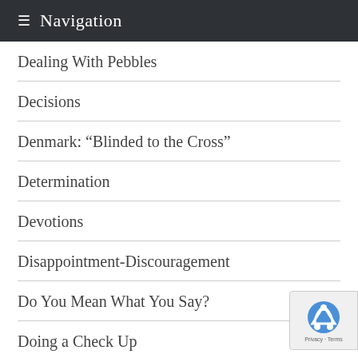Navigation
Dealing With Pebbles
Decisions
Denmark: “Blinded to the Cross”
Determination
Devotions
Disappointment-Discouragement
Do You Mean What You Say?
Doing a Check Up
Don’t Fight What You Can’t Change!